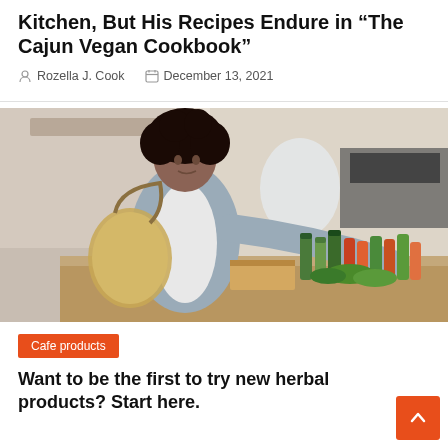Kitchen, But His Recipes Endure in “The Cajun Vegan Cookbook”
Rozella J. Cook   December 13, 2021
[Figure (photo): A woman with curly hair wearing a grey and white raglan top, carrying a woven bag, reaching across a counter with various bottled products and produce in what appears to be a cafe or market setting.]
Cafe products
Want to be the first to try new herbal products? Start here.